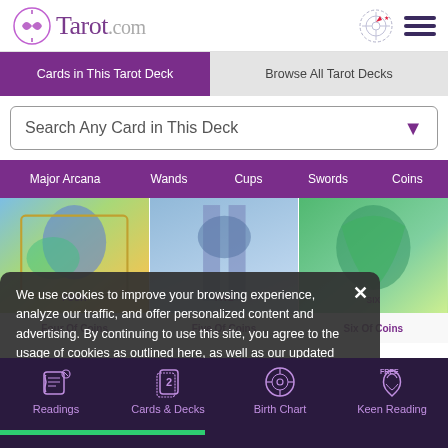Tarot.com
Cards in This Tarot Deck | Browse All Tarot Decks
Search Any Card in This Deck
Major Arcana | Wands | Cups | Swords | Coins
[Figure (screenshot): Three tarot card images partially visible: colorful illustrated cards from a tarot deck]
Four of Coins   Five of Coins   Six of Coins
We use cookies to improve your browsing experience, analyze our traffic, and offer personalized content and advertising. By continuing to use this site, you agree to the usage of cookies as outlined here, as well as our updated Privacy Policy and Terms of Use.
[Figure (infographic): Ad banner: Choose Your CARDS NOW with daisy flower graphics and question mark card placeholders]
Readings | Cards & Decks | Birth Chart | Keen Reading